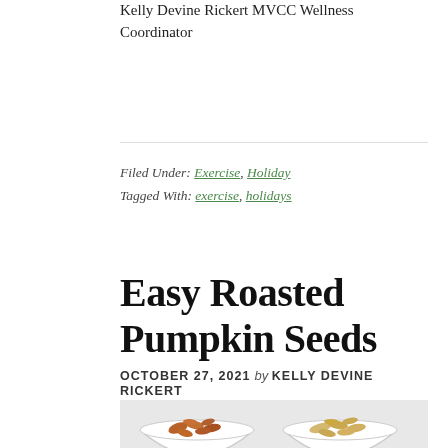Kelly Devine Rickert MVCC Wellness Coordinator
Filed Under: Exercise, Holiday
Tagged With: exercise, holidays
Easy Roasted Pumpkin Seeds
OCTOBER 27, 2021 by KELLY DEVINE RICKERT
[Figure (photo): Two white bowls filled with roasted pumpkin seeds, one with darker seeds on the left and one with lighter seeds on the right, on a light background.]